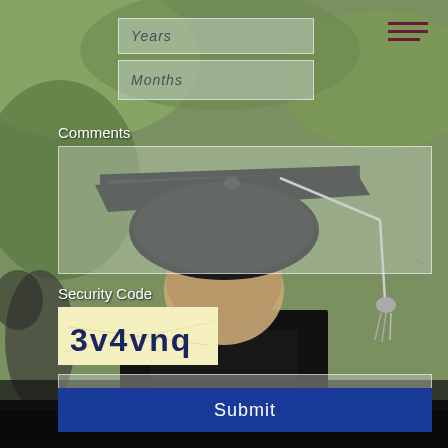[Figure (photo): Background photo of a graduate student from behind wearing a black mortarboard cap with white tassel, outdoors with blurred green foliage background]
Years
Months
Comments
[Figure (other): CAPTCHA security code image showing '3v4vnq' in dark blue bold text on a light yellow speckled background]
Security Code
Submit